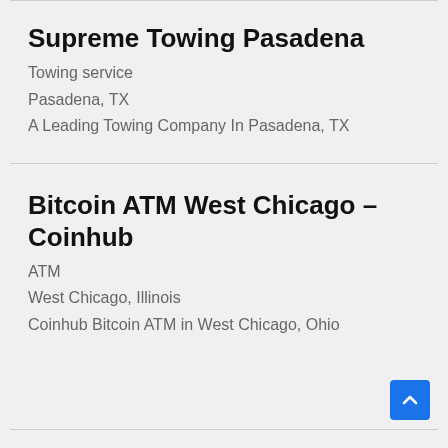Supreme Towing Pasadena
Towing service
Pasadena, TX
A Leading Towing Company In Pasadena, TX
Bitcoin ATM West Chicago – Coinhub
ATM
West Chicago, Illinois
Coinhub Bitcoin ATM in West Chicago, Ohio